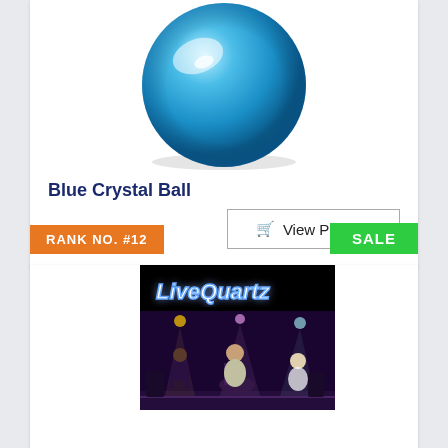[Figure (photo): Blue crystal/glass ball photographed from above on white background]
Blue Crystal Ball
View Product
RANK NO. #12
SALE
[Figure (photo): Live Quartz band album cover showing band performing on stage with logo at top]
Live Quartz